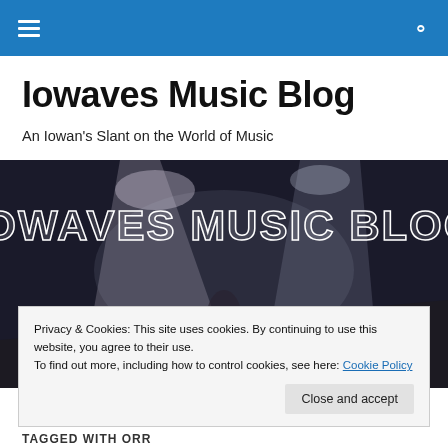Navigation bar with hamburger menu and search icon
Iowaves Music Blog
An Iowan's Slant on the World of Music
[Figure (photo): Concert/stage photo with spotlights and performer, with large dotted text overlay reading 'IOWAVES MUSIC BLOG']
Privacy & Cookies: This site uses cookies. By continuing to use this website, you agree to their use.
To find out more, including how to control cookies, see here: Cookie Policy
Close and accept
TAGGED WITH ORR